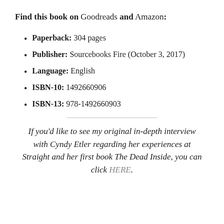Find this book on Goodreads and Amazon:
Paperback: 304 pages
Publisher: Sourcebooks Fire (October 3, 2017)
Language: English
ISBN-10: 1492660906
ISBN-13: 978-1492660903
If you'd like to see my original in-depth interview with Cyndy Etler regarding her experiences at Straight and her first book The Dead Inside, you can click HERE.